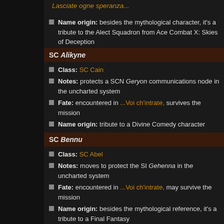Lasciate ogne speranza... (link)
Name origin: besides the mythological character, it's a tribute to the Alect Squadron from Ace Combat X: Skies of Deception
SC Alikyne
Class: SC Cain
Notes: protects a SCN Geryon communications node in the uncharted system
Fate: encountered in ...Voi ch'intrate, survives the mission
Name origin: tribute to a Divine Comedy character
SC Bennu
Class: SC Abel
Notes: moves to protect the SI Gehenna in the uncharted system
Fate: encountered in ...Voi ch'intrate, may survive the mission
Name origin: besides the mythological reference, it's a tribute to a Final Fantasy